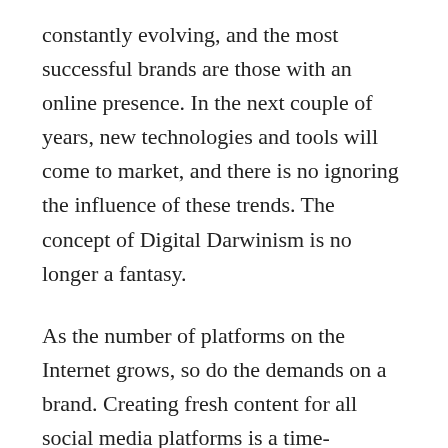constantly evolving, and the most successful brands are those with an online presence. In the next couple of years, new technologies and tools will come to market, and there is no ignoring the influence of these trends. The concept of Digital Darwinism is no longer a fantasy.
As the number of platforms on the Internet grows, so do the demands on a brand. Creating fresh content for all social media platforms is a time-consuming process, especially for smaller businesses. This is why digital marketing trends suggest brands focus their resources in more sustainable ways. First, they must prioritize social media. Don't hoard resources – instead, prioritize specific channels and work more efficiently. Having a